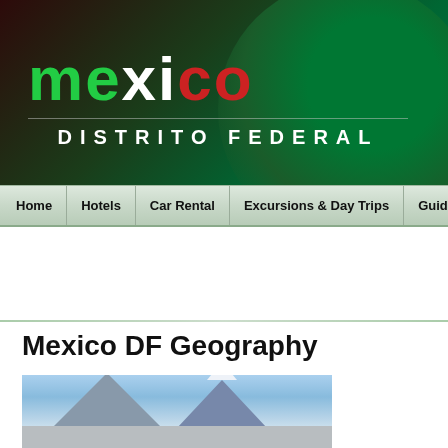[Figure (logo): Mexico Distrito Federal website header banner with dark red-to-green gradient background and rounded corner shape. MEXICO in large text: 'ME' in green, 'X' in white, 'I' in white, 'CO' in red. Below a thin horizontal rule, 'DISTRITO FEDERAL' in white spaced capitals.]
Home | Hotels | Car Rental | Excursions & Day Trips | Guide Books
Mexico DF Geography
[Figure (photo): Photograph of snow-capped volcanoes (likely Popocatépetl and Iztaccíhuatl) against a blue sky, with rocky terrain in the foreground.]